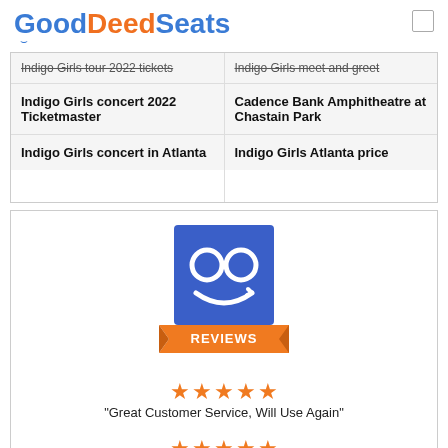GoodDeedSeats
Indigo Girls tour 2022 tickets
Indigo Girls meet and greet
Indigo Girls concert 2022 Ticketmaster
Cadence Bank Amphitheatre at Chastain Park
Indigo Girls concert in Atlanta
Indigo Girls Atlanta price
[Figure (logo): GoodDeedSeats Reviews logo: blue square with two circle eyes and a smile, orange banner below with text REVIEWS]
★★★★★ "Great Customer Service, Will Use Again"
★★★★★ "Cool Idea, Good Experience"
★★★★☆ (partial row)